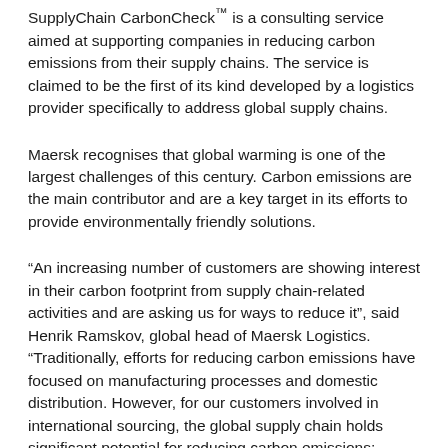SupplyChain CarbonCheck™ is a consulting service aimed at supporting companies in reducing carbon emissions from their supply chains. The service is claimed to be the first of its kind developed by a logistics provider specifically to address global supply chains.
Maersk recognises that global warming is one of the largest challenges of this century. Carbon emissions are the main contributor and are a key target in its efforts to provide environmentally friendly solutions.
“An increasing number of customers are showing interest in their carbon footprint from supply chain-related activities and are asking us for ways to reduce it”, said Henrik Ramskov, global head of Maersk Logistics. “Traditionally, efforts for reducing carbon emissions have focused on manufacturing processes and domestic distribution. However, for our customers involved in international sourcing, the global supply chain holds significant potential for reducing carbon emissions; potential that has so far largely gone untapped.”